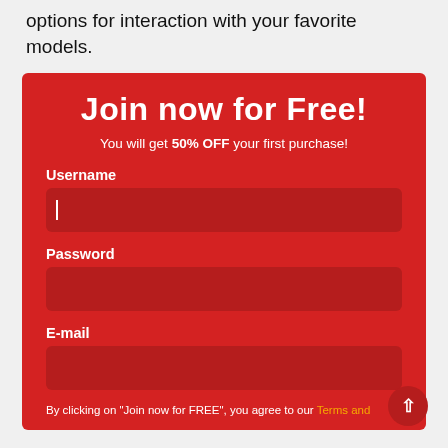options for interaction with your favorite models.
[Figure (screenshot): Red registration form box with title 'Join now for Free!', subtitle 'You will get 50% OFF your first purchase!', and three input fields: Username, Password, E-mail, plus a bottom disclaimer line about Terms and Conditions.]